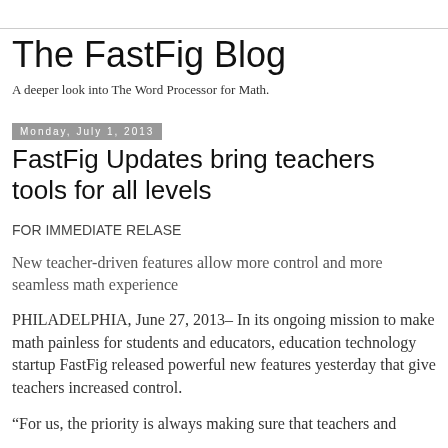The FastFig Blog
A deeper look into The Word Processor for Math.
Monday, July 1, 2013
FastFig Updates bring teachers tools for all levels
FOR IMMEDIATE RELASE
New teacher-driven features allow more control and more seamless math experience
PHILADELPHIA, June 27, 2013– In its ongoing mission to make math painless for students and educators, education technology startup FastFig released powerful new features yesterday that give teachers increased control.
“For us, the priority is always making sure that teachers and